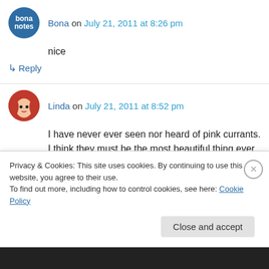Bona on July 21, 2011 at 8:26 pm
nice
↳ Reply
Linda on July 21, 2011 at 8:52 pm
I have never ever seen nor heard of pink currants. I think they must be the most beautiful thing ever.
Privacy & Cookies: This site uses cookies. By continuing to use this website, you agree to their use. To find out more, including how to control cookies, see here: Cookie Policy
Close and accept